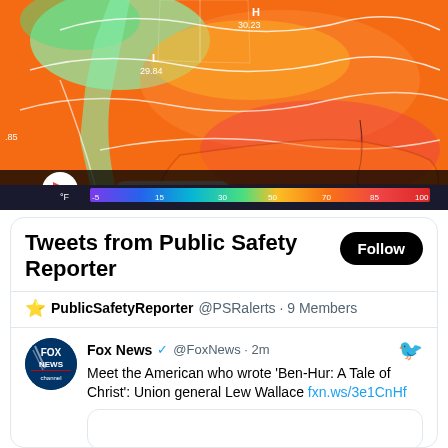[Figure (screenshot): Weather map of the United States showing temperature gradients from cold (purple/blue) to hot (red/orange). A media player bar is visible at the bottom with 'Friday 26 - 8 AM' label. Temperature scale shows °F from -5 to 100.]
Tweets from Public Safety Reporter
⭐ PublicSafetyReporter @PSRalerts · 9 Members
Fox News ✓ @FoxNews · 2m
Meet the American who wrote 'Ben-Hur: A Tale of Christ': Union general Lew Wallace fxn.ws/3e1CnHf